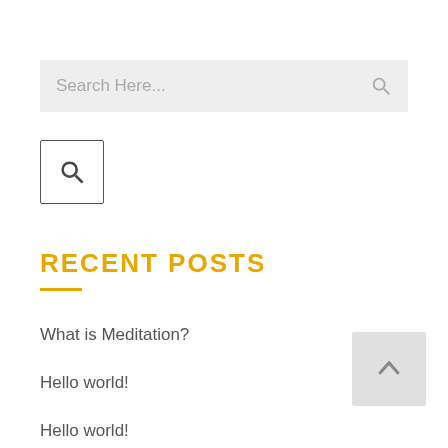[Figure (other): Search bar with placeholder text 'Search Here...' and a search icon on the right]
[Figure (other): Search button box with a search/magnifier icon inside a square border]
RECENT POSTS
What is Meditation?
Hello world!
Hello world!
Upcoming Yoga workshops in town